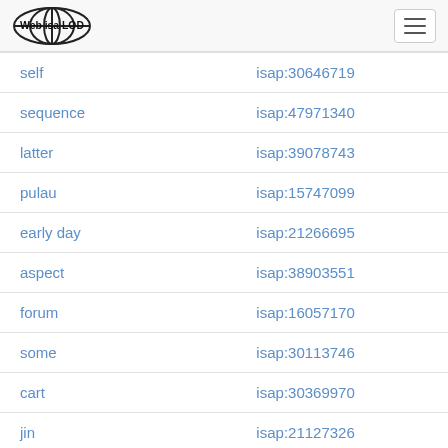Web isa LOD
| term | isap id |
| --- | --- |
| self | isap:30646719 |
| sequence | isap:47971340 |
| latter | isap:39078743 |
| pulau | isap:15747099 |
| early day | isap:21266695 |
| aspect | isap:38903551 |
| forum | isap:16057170 |
| some | isap:30113746 |
| cart | isap:30369970 |
| jin | isap:21127326 |
| excellence | isap:25413957 |